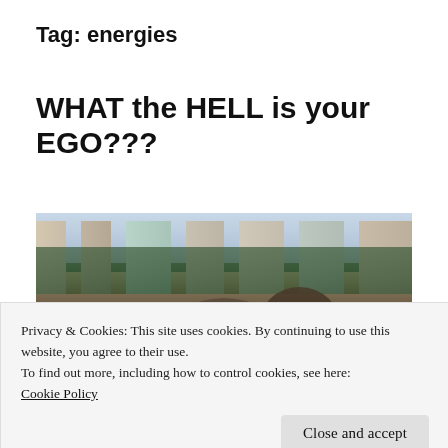Tag: energies
WHAT the HELL is your EGO???
[Figure (photo): Street-level photo of a coastal resort area with tall hotel buildings, palm trees, mountains in background, and people in the foreground wearing hats]
Privacy & Cookies: This site uses cookies. By continuing to use this website, you agree to their use.
To find out more, including how to control cookies, see here:
Cookie Policy
Close and accept